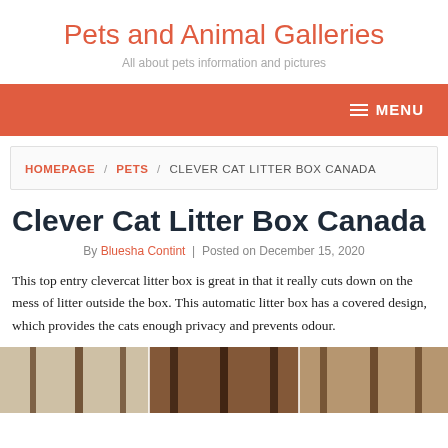Pets and Animal Galleries
All about pets information and pictures
MENU
HOMEPAGE / PETS / CLEVER CAT LITTER BOX CANADA
Clever Cat Litter Box Canada
By Bluesha Contint | Posted on December 15, 2020
This top entry clevercat litter box is great in that it really cuts down on the mess of litter outside the box. This automatic litter box has a covered design, which provides the cats enough privacy and prevents odour.
[Figure (photo): Image strip showing cat litter box photo panels in brown and beige tones]